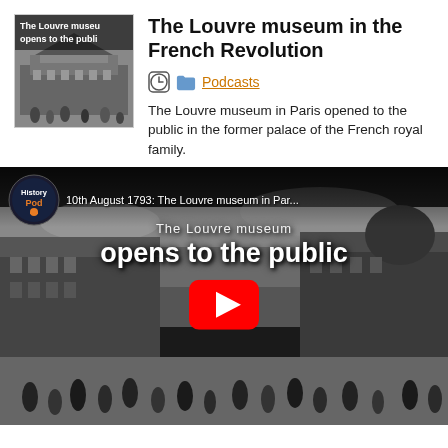[Figure (screenshot): Thumbnail image of the Louvre museum in black and white historical engraving with text overlay 'The Louvre museum opens to the public']
The Louvre museum in the French Revolution
Podcasts
The Louvre museum in Paris opened to the public in the former palace of the French royal family.
[Figure (screenshot): YouTube video thumbnail for '10th August 1793: The Louvre museum in Paris opens to the public' by HistoryPod, showing black and white historical engraving of the Louvre with a YouTube play button]